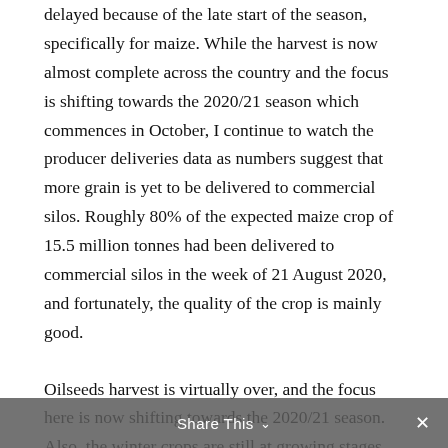delayed because of the late start of the season, specifically for maize. While the harvest is now almost complete across the country and the focus is shifting towards the 2020/21 season which commences in October, I continue to watch the producer deliveries data as numbers suggest that more grain is yet to be delivered to commercial silos. Roughly 80% of the expected maize crop of 15.5 million tonnes had been delivered to commercial silos in the week of 21 August 2020, and fortunately, the quality of the crop is mainly good.
Oilseeds harvest is virtually over, and the focus here is now shifting towards the 2020/21 season. Also, the winter crops are still at growing stages, therefore, I will only start looking at the producer deliveries data for these crops around the harvest period, which is towards
Share This